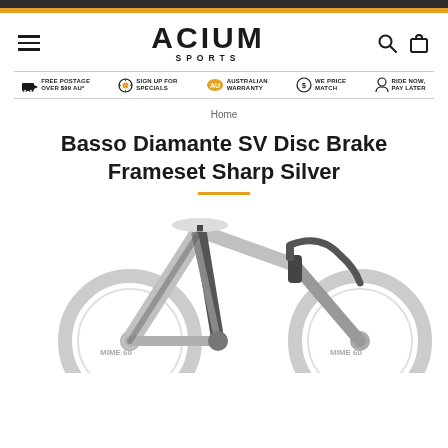ACIUM SPORTS
FREE POSTAGE OVER $99 AU* | SIGN UP FOR SPECIALS | AUSTRALIAN WARRANTY | WE PRICE MATCH | RIDE NOW, PAY LATER
Home
Basso Diamante SV Disc Brake Frameset Sharp Silver
[Figure (photo): Basso Diamante SV Disc Brake Frameset in Sharp Silver colour - a road bicycle frameset shown from the side, featuring a silver and black carbon frame with disc brakes, aero design, and Mime 60 wheels]